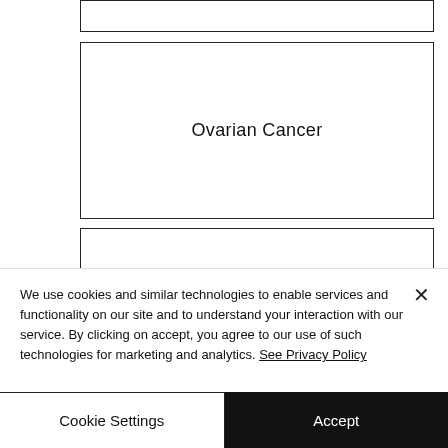Ovarian Cancer
Intestinal Cancer
We use cookies and similar technologies to enable services and functionality on our site and to understand your interaction with our service. By clicking on accept, you agree to our use of such technologies for marketing and analytics. See Privacy Policy
Cookie Settings
Accept